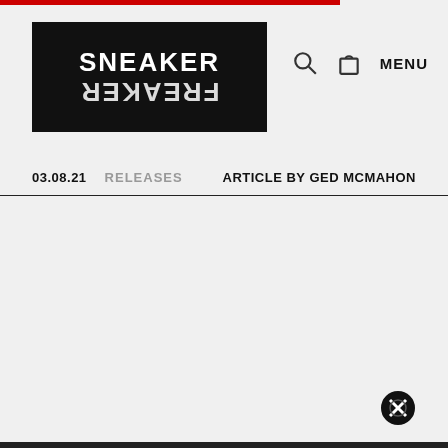SNEAKER FREAKER — header with logo, search, bag, and MENU
03.08.21   RELEASES   ARTICLE BY GED MCMAHON
[Figure (other): Close/X button icon at bottom right]